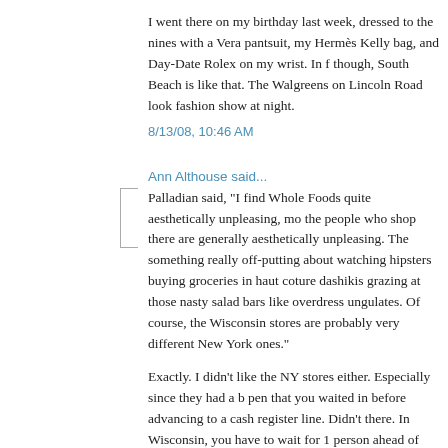I went there on my birthday last week, dressed to the nines with a Vera pantsuit, my Hermès Kelly bag, and Day-Date Rolex on my wrist. In f though, South Beach is like that. The Walgreens on Lincoln Road look fashion show at night.
8/13/08, 10:46 AM
Ann Althouse said...
Palladian said, "I find Whole Foods quite aesthetically unpleasing, mo the people who shop there are generally aesthetically unpleasing. The something really off-putting about watching hipsters buying groceries in haut coture dashikis grazing at those nasty salad bars like overdress ungulates. Of course, the Wisconsin stores are probably very different New York ones."
Exactly. I didn't like the NY stores either. Especially since they had a b pen that you waited in before advancing to a cash register line. Didn't there. In Wisconsin, you have to wait for 1 person ahead of you, usual And it tends to be a nonhipster. People tend to wear jeans and T-shirts.
8/13/08, 10:50 AM